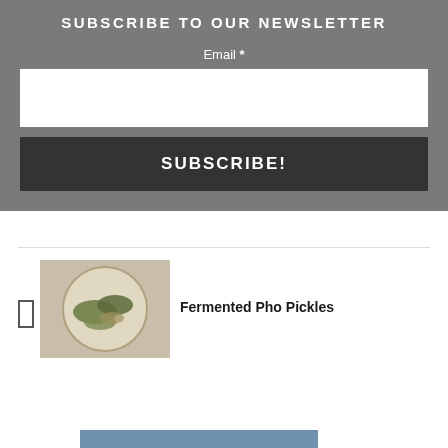SUBSCRIBE TO OUR NEWSLETTER
Email *
SUBSCRIBE!
Fermented Pho Pickles
[Figure (photo): Bowl of fermented pho pickles with vegetables]
[Figure (photo): Airplane being loaded with cargo on tarmac]
[Figure (infographic): Dark blue banner with text 'WITHOUT REGARD TO POLITICS, RELIGION, OR ABILITY TO PAY']